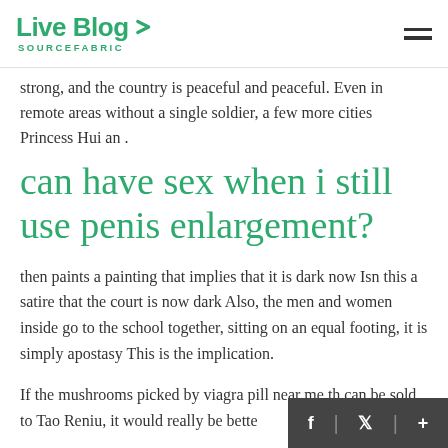Live Blog SOURCEFABRIC
strong, and the country is peaceful and peaceful. Even in remote areas without a single soldier, a few more cities Princess Hui an .
can have sex when i still use penis enlargement?
then paints a painting that implies that it is dark now Isn this a satire that the court is now dark Also, the men and women inside go to the school together, sitting on an equal footing, it is simply apostasy This is the implication.
If the mushrooms picked by viagra pill near me th can be sold to Tao Reniu, it would really be bette